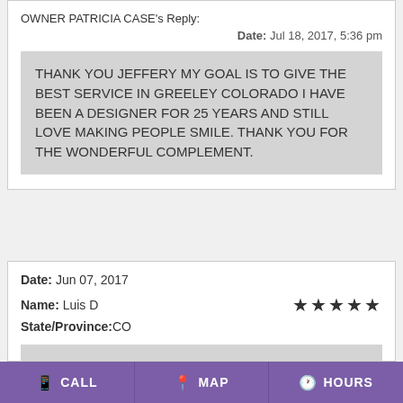OWNER PATRICIA CASE's Reply:
Date: Jul 18, 2017, 5:36 pm
THANK YOU JEFFERY MY GOAL IS TO GIVE THE BEST SERVICE IN GREELEY COLORADO I HAVE BEEN A DESIGNER FOR 25 YEARS AND STILL LOVE MAKING PEOPLE SMILE. THANK YOU FOR THE WONDERFUL COMPLEMENT.
Date: Jun 07, 2017
Name: Luis D
State/Province:CO
Good service and fast I would buy again
CALL  MAP  HOURS